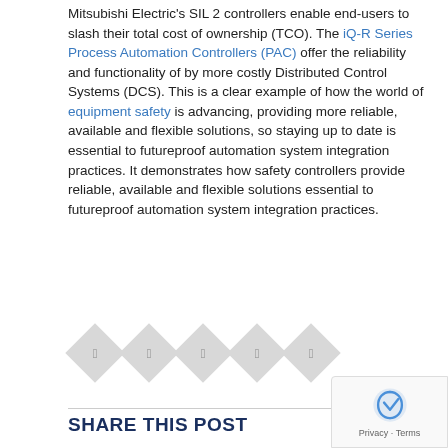Mitsubishi Electric's SIL 2 controllers enable end-users to slash their total cost of ownership (TCO). The iQ-R Series Process Automation Controllers (PAC) offer the reliability and functionality of by more costly Distributed Control Systems (DCS). This is a clear example of how the world of equipment safety is advancing, providing more reliable, available and flexible solutions, so staying up to date is essential to futureproof automation system integration practices. It demonstrates how safety controllers provide reliable, available and flexible solutions essential to futureproof automation system integration practices.
[Figure (other): Row of 5 social media icon diamonds in light grey]
SHARE THIS POST
LEAVE A REPLY